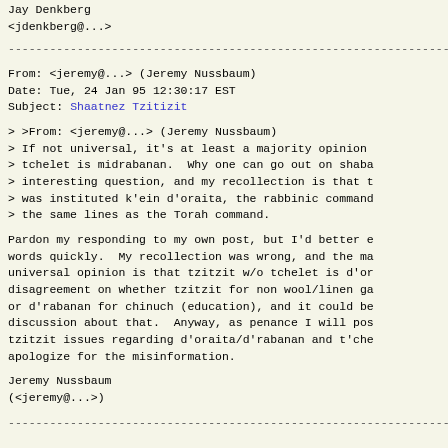Jay Denkberg
<jdenkberg@...>
--------------------------------------------------------------------------------
From: <jeremy@...> (Jeremy Nussbaum)
Date: Tue, 24 Jan 95 12:30:17 EST
Subject: Shaatnez Tzitizit
> >From: <jeremy@...> (Jeremy Nussbaum)
> If not universal, it's at least a majority opinion
> tchelet is midrabanan.  Why one can go out on shaba
> interesting question, and my recollection is that t
> was instituted k'ein d'oraita, the rabbinic command
> the same lines as the Torah command.
Pardon my responding to my own post, but I'd better e
words quickly.  My recollection was wrong, and the ma
universal opinion is that tzitzit w/o tchelet is d'or
disagreement on whether tzitzit for non wool/linen ga
or d'rabanan for chinuch (education), and it could be
discussion about that.  Anyway, as penance I will pos
tzitzit issues regarding d'oraita/d'rabanan and t'che
apologize for the misinformation.
Jeremy Nussbaum
(<jeremy@...>)
--------------------------------------------------------------------------------